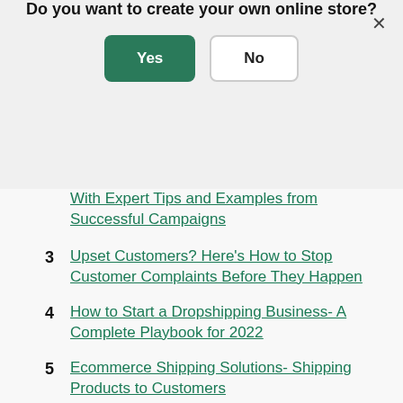Do you want to create your own online store?
[Figure (screenshot): Modal dialog with Yes (green button) and No (white button with border) options, and an X close button in the top right]
With Expert Tips and Examples from Successful Campaigns
3  Upset Customers? Here's How to Stop Customer Complaints Before They Happen
4  How to Start a Dropshipping Business- A Complete Playbook for 2022
5  Ecommerce Shipping Solutions- Shipping Products to Customers
6  How to Source Products to Sell Online- Top Apps + Tricks